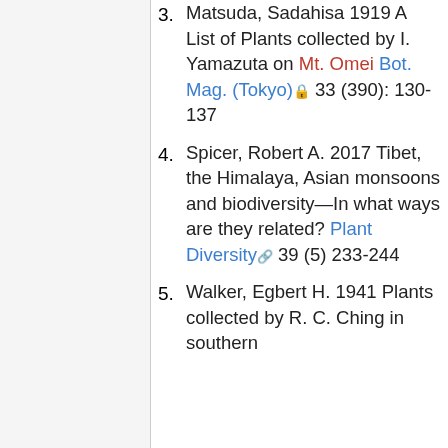3. Matsuda, Sadahisa 1919 A List of Plants collected by I. Yamazuta on Mt. Omei Bot. Mag. (Tokyo) 33 (390): 130-137
4. Spicer, Robert A. 2017 Tibet, the Himalaya, Asian monsoons and biodiversity—In what ways are they related? Plant Diversity 39 (5) 233-244
5. Walker, Egbert H. 1941 Plants collected by R. C. Ching in southern [continues]